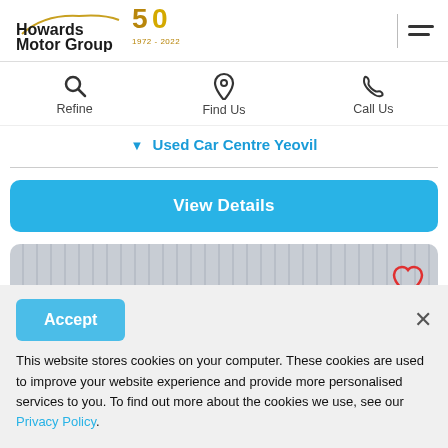[Figure (logo): Howards Motor Group 50th anniversary logo (1972-2022) with gold car silhouette and golden 50 badge]
Refine
Find Us
Call Us
▼ Used Car Centre Yeovil
View Details
[Figure (photo): Partial view of a car image with vertical slat/louvre pattern, with a red heart/favourite icon in the top right corner]
Accept
This website stores cookies on your computer. These cookies are used to improve your website experience and provide more personalised services to you. To find out more about the cookies we use, see our Privacy Policy.